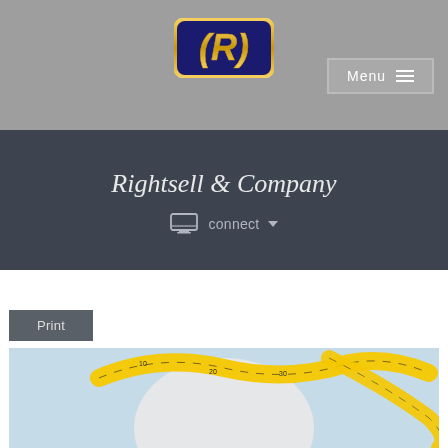[Figure (logo): Rightsell & Company logo: gold-bordered dark blue rounded rectangle with stylized R letter in gold/yellow]
Menu ☰
Rightsell & Company
connect ▼
Print
[Figure (photo): A yellow measuring tape wrapped around a white globe/ball on a light blue background]